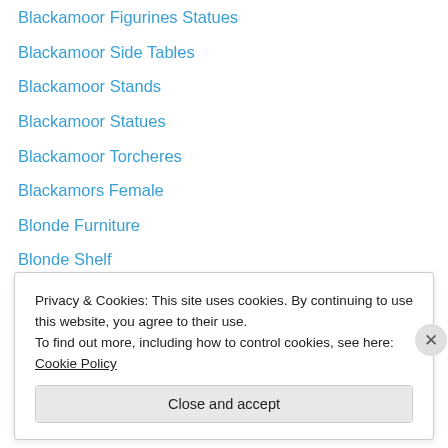Blackamoor Figurines Statues
Blackamoor Side Tables
Blackamoor Stands
Blackamoor Statues
Blackamoor Torcheres
Blackamors Female
Blonde Furniture
Blonde Shelf
Blonde Tables
Blonde Walnut Furniture
Bombe Chest Drawers
Bombe Chests
Bombe Commode
Privacy & Cookies: This site uses cookies. By continuing to use this website, you agree to their use.
To find out more, including how to control cookies, see here: Cookie Policy
Close and accept